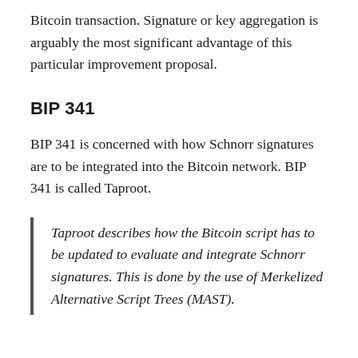Bitcoin transaction. Signature or key aggregation is arguably the most significant advantage of this particular improvement proposal.
BIP 341
BIP 341 is concerned with how Schnorr signatures are to be integrated into the Bitcoin network. BIP 341 is called Taproot.
Taproot describes how the Bitcoin script has to be updated to evaluate and integrate Schnorr signatures. This is done by the use of Merkelized Alternative Script Trees (MAST).